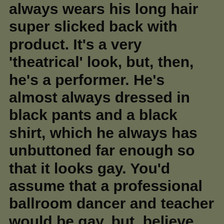always wears his long hair super slicked back with product. It's a very 'theatrical' look, but, then, he's a performer. He's almost always dressed in black pants and a black shirt, which he always has unbuttoned far enough so that it looks gay. You'd assume that a professional ballroom dancer and teacher would be gay, but, believe me, he isn't. Joyce thinks he's very sexy and she's a sure as I am that he's straight.

You can also tell he's straight by looking at his wife. If Joyce thinks Rico is hot, I think Carla's just as hot. She's tall – 5'6'', I'd say, with legs that go on forever. She always wears super high heels when she's teaching and dancing, and don't ask me how she doesn't fall off of them. I